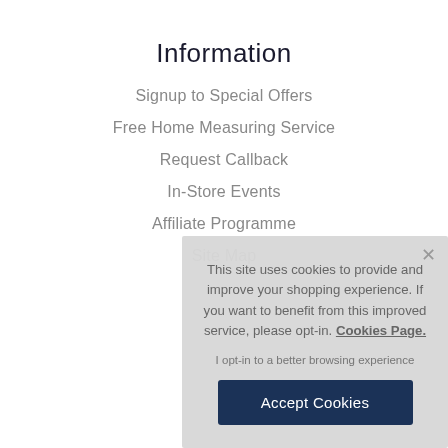Information
Signup to Special Offers
Free Home Measuring Service
Request Callback
In-Store Events
Affiliate Programme
Site Map
This site uses cookies to provide and improve your shopping experience. If you want to benefit from this improved service, please opt-in. Cookies Page.
I opt-in to a better browsing experience
Accept Cookies